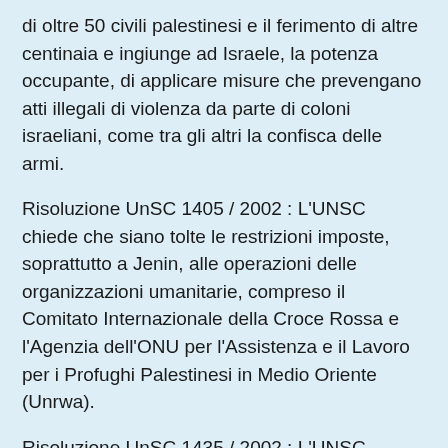di oltre 50 civili palestinesi e il ferimento di altre centinaia e ingiunge ad Israele, la potenza occupante, di applicare misure che prevengano atti illegali di violenza da parte di coloni israeliani, come tra gli altri la confisca delle armi.
Risoluzione UnSC 1405 / 2002 : L'UNSC chiede che siano tolte le restrizioni imposte, soprattutto a Jenin, alle operazioni delle organizzazioni umanitarie, compreso il Comitato Internazionale della Croce Rossa e l'Agenzia dell'ONU per l'Assistenza e il Lavoro per i Profughi Palestinesi in Medio Oriente (Unrwa).
Risoluzione UnSC 1435 / 2002 : L'UNSC chiede che Israele ponga immediatamente fine alle misure prese nella città di Ramallah e nei dintorni, che comprendono la distruzione delle infrastrutture civili e di sicurezza palestinesi; chiede anche il rapido ritiro delle forze di